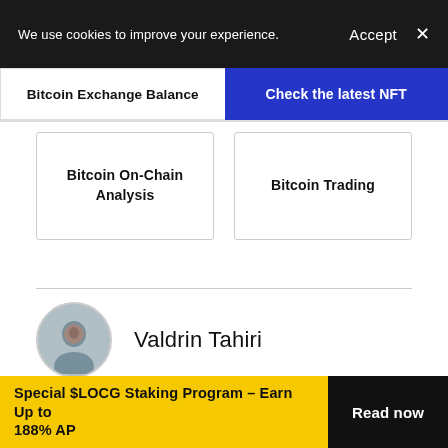We use cookies to improve your experience. Accept ×
Bitcoin Exchange Balance
Check the latest NFT
Bitcoin On-Chain Analysis
Bitcoin Trading
Valdrin Tahiri
Valdrin discovered cryptocurrencies while he was getting his MSc in Financial Markets from the Barcelona graduate school of Economics. Shortly after graduating, he began writing for several
Special $LOCG Staking Program – Earn Up to 188% AP  Read now